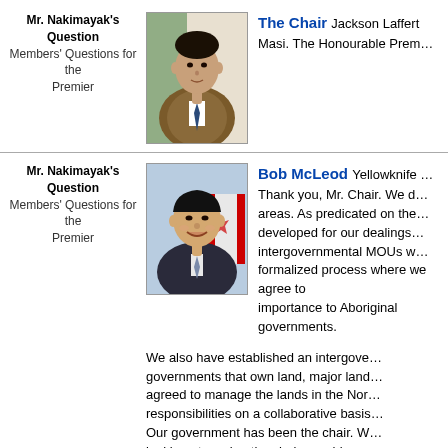Mr. Nakimayak's Question
Members' Questions for the Premier
[Figure (photo): Photo of Jackson Lafferty, man wearing traditional vest with floral beadwork and a tie]
The Chair  Jackson Lafferт
Masi. The Honourable Prem…
Mr. Nakimayak's Question
Members' Questions for the Premier
[Figure (photo): Photo of Bob McLeod, smiling man in suit with Canadian flag behind him]
Bob McLeod  Yellowknife …
Thank you, Mr. Chair. We d… areas. As predicated on the… developed for our dealings… intergovernmental MOUs w… formalized process where we agree to … importance to Aboriginal governments.

We also have established an intergove… governments that own land, major land… agreed to manage the lands in the Nor… responsibilities on a collaborative basis… Our government has been the chair. W… looking at moving the chairmanship arc…